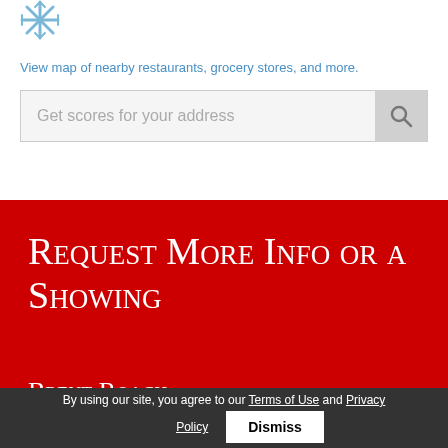[Figure (logo): Partial logo image visible at top left, blue/light blue snowflake or gear-like icon]
View map of nearby restaurants, grocery stores, and more.
Get scores for your address
Request More Info or a Showing
Brent Roach
By using our site, you agree to our Terms of Use and Privacy Policy  Dismiss